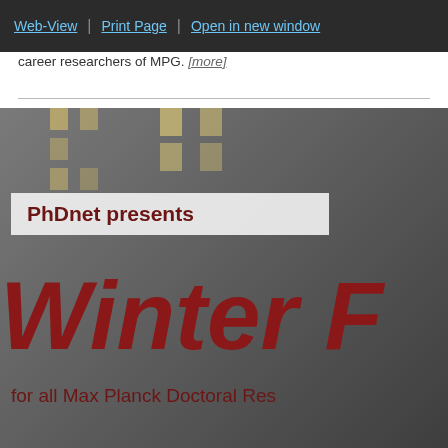Web-View | Print Page | Open in new window
career researchers of MPG. [more]
[Figure (photo): PhDnet Winter event promotional banner/photo showing a building at night with a banner that reads 'PhDnet presents Winter [school/retreat] for all Max Planck Doctoral Researchers']